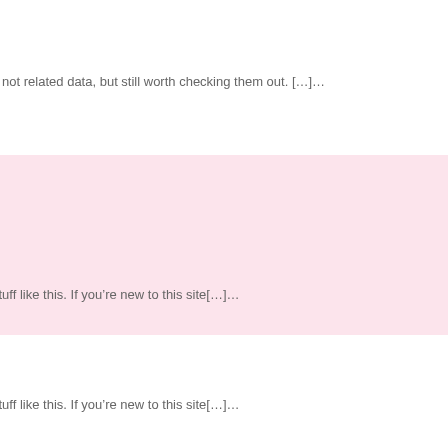v not related data, but still worth checking them out. […]…
[Figure (other): Pink background box/panel element]
stuff like this. If youâre new to this site[…]â¦…
stuff like this. If youâre new to this site[…]â¦…